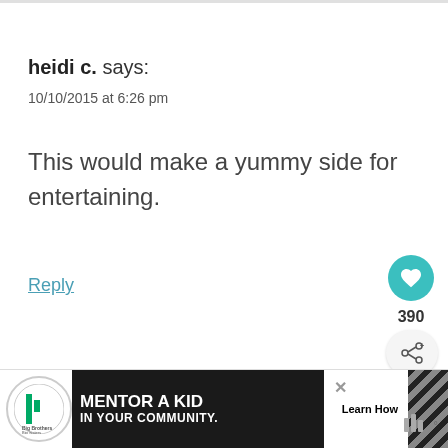heidi c. says:
10/10/2015 at 6:26 pm
This would make a yummy side for entertaining.
Reply
Krista M says:
10/11/2015 at 3:02 pm
[Figure (screenshot): WHAT'S NEXT arrow with Ham and Cheese... thumbnail]
[Figure (infographic): Big Brothers Big Sisters MENTOR A KID IN YOUR COMMUNITY advertisement banner with Learn How button]